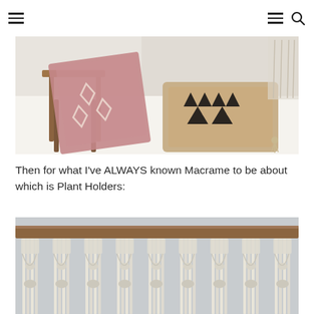[Navigation header with hamburger menus and search icon]
[Figure (photo): Bohemian home decor scene with a pink diamond-pattern throw blanket draped over a wooden stool, and a decorative pillow with black geometric/Aztec pattern on a white fluffy rug]
Then for what I've ALWAYS known Macrame to be about which is Plant Holders:
[Figure (photo): Close-up of macrame plant holders made from cream/white twisted cotton rope with intricate knotted patterns, hanging from a wooden dowel against a light gray background]